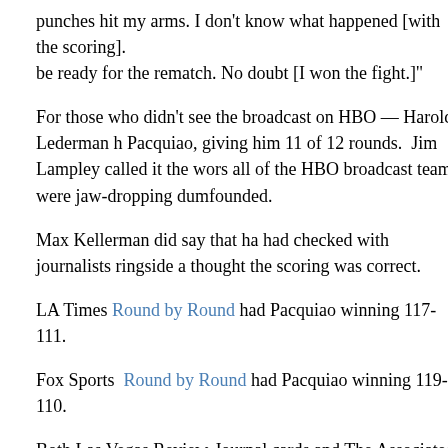punches hit my arms. I don't know what happened [with the scoring]. be ready for the rematch. No doubt [I won the fight.]"
For those who didn't see the broadcast on HBO — Harold Lederman h Pacquiao, giving him 11 of 12 rounds. Jim Lampley called it the wors all of the HBO broadcast team were jaw-dropping dumfounded.
Max Kellerman did say that ha had checked with journalists ringside a thought the scoring was correct.
LA Times Round by Round had Pacquiao winning 117-111.
Fox Sports Round by Round had Pacquiao winning 119-110.
Both Las Vegas Review-Journal cards and The Associated Press score Pacquiao, all 117-111.
Pacquiao connected on 253 total punches – nearly 100 more than Brad landed 190 power punches to Bradley's 108.
Teddy Atlas, a famed boxing trainer turned ESPN2 boxing commentat